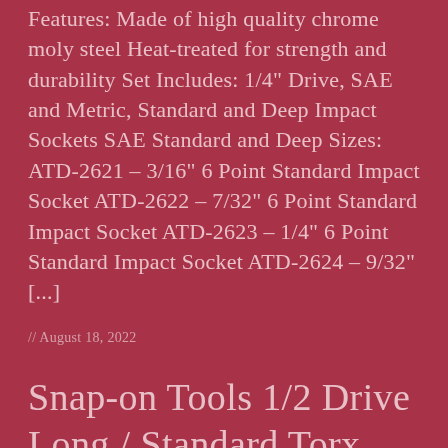Features: Made of high quality chrome moly steel Heat-treated for strength and durability Set Includes: 1/4" Drive, SAE and Metric, Standard and Deep Impact Sockets SAE Standard and Deep Sizes: ATD-2621 – 3/16" 6 Point Standard Impact Socket ATD-2622 – 7/32" 6 Point Standard Impact Socket ATD-2623 – 1/4" 6 Point Standard Impact Socket ATD-2624 – 9/32" [...]
// August 18, 2022
Snap-on Tools 1/2 Drive Long / Standard Torx,